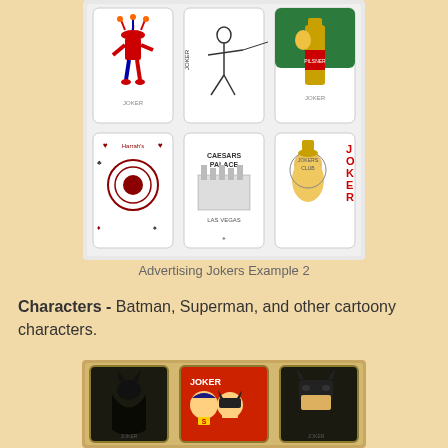[Figure (photo): Grid of 6 advertising joker playing cards in a plastic sleeve holder - top row shows a colorful jester joker, a black and white fencing/dueling joker, and a joker with a beer bottle; bottom row shows a Harrah's casino card, a Caesars Palace Las Vegas card, and a cartoon character joker]
Advertising Jokers Example 2
Characters - Batman, Superman, and other cartoony characters.
[Figure (photo): Three playing card jokers featuring comic book characters - left shows Batman joker card, center shows Superman and Batman joker card with red background, right shows another Batman themed joker card]